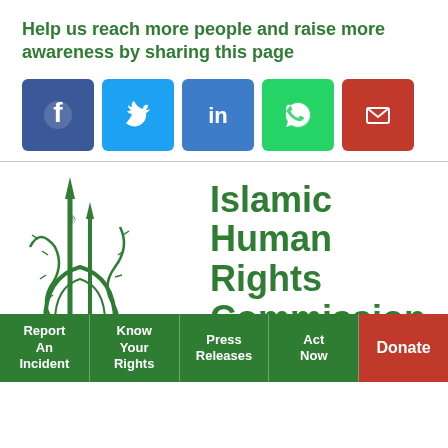Help us reach more people and raise more awareness by sharing this page
[Figure (infographic): Social sharing buttons: Facebook (blue), Twitter (light blue), LinkedIn (blue), WhatsApp (green), Email (red)]
[Figure (logo): Islamic Human Rights Commission logo — green minaret and dome with barbed wire, alongside green bold text 'Islamic Human Rights Commission']
Report An Incident | Know Your Rights | Press Releases | Act Now | Donate